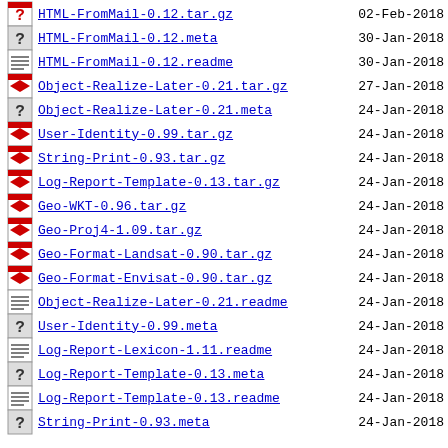HTML-FromMail-0.12.tar.gz  02-Feb-2018
HTML-FromMail-0.12.meta  30-Jan-2018
HTML-FromMail-0.12.readme  30-Jan-2018
Object-Realize-Later-0.21.tar.gz  27-Jan-2018
Object-Realize-Later-0.21.meta  24-Jan-2018
User-Identity-0.99.tar.gz  24-Jan-2018
String-Print-0.93.tar.gz  24-Jan-2018
Log-Report-Template-0.13.tar.gz  24-Jan-2018
Geo-WKT-0.96.tar.gz  24-Jan-2018
Geo-Proj4-1.09.tar.gz  24-Jan-2018
Geo-Format-Landsat-0.90.tar.gz  24-Jan-2018
Geo-Format-Envisat-0.90.tar.gz  24-Jan-2018
Object-Realize-Later-0.21.readme  24-Jan-2018
User-Identity-0.99.meta  24-Jan-2018
Log-Report-Lexicon-1.11.readme  24-Jan-2018
Log-Report-Template-0.13.meta  24-Jan-2018
Log-Report-Template-0.13.readme  24-Jan-2018
String-Print-0.93.meta  24-Jan-2018